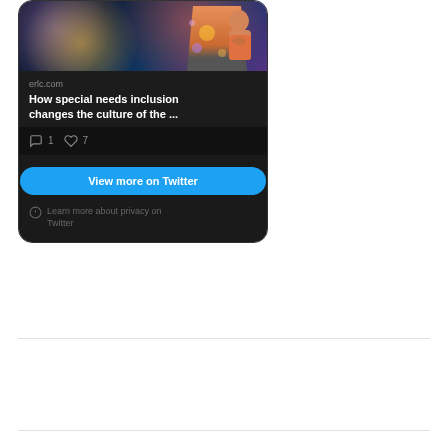[Figure (screenshot): Twitter embedded card showing a photo of a child looking up, with source 'erlc.com', title 'How special needs inclusion changes the culture of the ...', comment count 1, like count 7, a 'View more on Twitter' button, and privacy info text.]
Follow me on bloglovin'